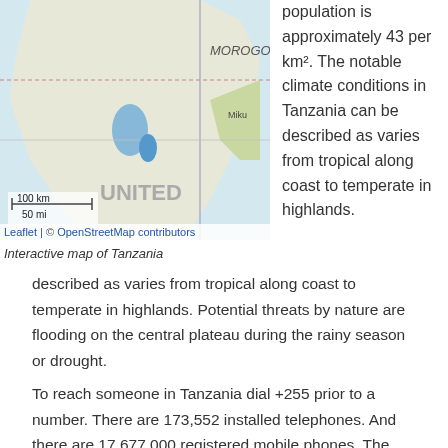[Figure (map): Interactive map of Tanzania showing regions including MOROGO and surrounding areas with scale bar showing 100 km / 50 mi. Leaflet | © OpenStreetMap contributors attribution shown.]
Interactive map of Tanzania
population is approximately 43 per km². The notable climate conditions in Tanzania can be described as varies from tropical along coast to temperate in highlands. Potential threats by nature are flooding on the central plateau during the rainy season or drought.
To reach someone in Tanzania dial +255 prior to a number. There are 173,552 installed telephones. And there are 17,677,000 registered mobile phones. The cellular networks commonly support frequencies of MHz. Websites registered in this country end with the top level domain ".tz". If you want to bring electric equipment on your trip (e.g. laptop power supply), note the local power outlet of .
ABOUT THE FLAG AND HISTORY OF TANZANIA